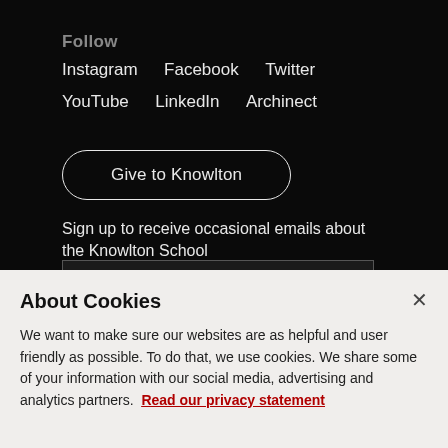Follow
Instagram   Facebook   Twitter
YouTube   LinkedIn   Archinect
Give to Knowlton
Sign up to receive occasional emails about the Knowlton School
About Cookies
We want to make sure our websites are as helpful and user friendly as possible. To do that, we use cookies. We share some of your information with our social media, advertising and analytics partners.  Read our privacy statement